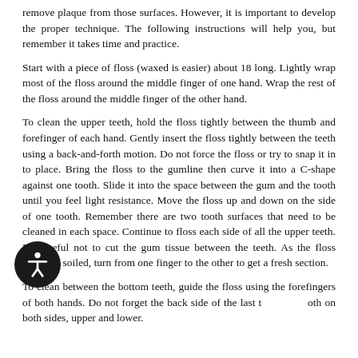remove plaque from those surfaces. However, it is important to develop the proper technique. The following instructions will help you, but remember it takes time and practice.
Start with a piece of floss (waxed is easier) about 18 long. Lightly wrap most of the floss around the middle finger of one hand. Wrap the rest of the floss around the middle finger of the other hand.
To clean the upper teeth, hold the floss tightly between the thumb and forefinger of each hand. Gently insert the floss tightly between the teeth using a back-and-forth motion. Do not force the floss or try to snap it in to place. Bring the floss to the gumline then curve it into a C-shape against one tooth. Slide it into the space between the gum and the tooth until you feel light resistance. Move the floss up and down on the side of one tooth. Remember there are two tooth surfaces that need to be cleaned in each space. Continue to floss each side of all the upper teeth. Be careful not to cut the gum tissue between the teeth. As the floss becomes soiled, turn from one finger to the other to get a fresh section.
To clean between the bottom teeth, guide the floss using the forefingers of both hands. Do not forget the back side of the last tooth on both sides, upper and lower.
When you are done, rinse vigorously with water to remove plaque and food particles. Do not be alarmed if during the first week of